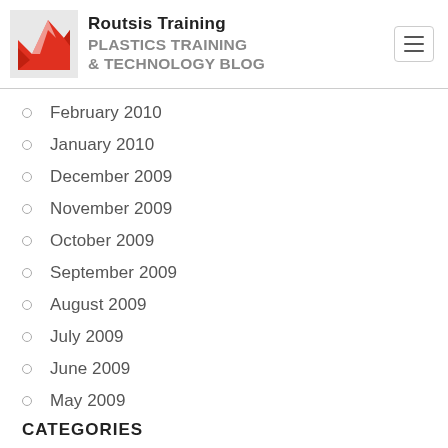[Figure (logo): Routsis Training logo with red arrow graphic and text 'Routsis Training PLASTICS TRAINING & TECHNOLOGY BLOG']
February 2010
January 2010
December 2009
November 2009
October 2009
September 2009
August 2009
July 2009
June 2009
May 2009
CATEGORIES